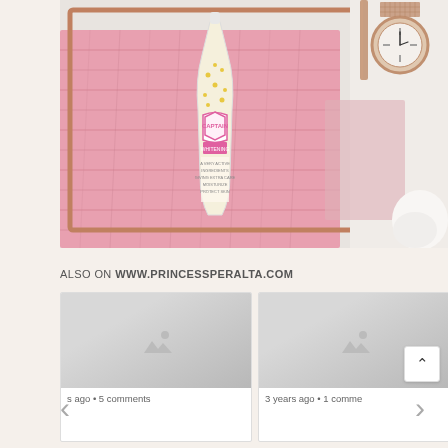[Figure (photo): Flatlay photo of a Captain brand cosmetic/lotion bottle with yellow star decorations and pink label, resting on a pink knit scarf/sweater inside a rose gold tray, with a rose gold mesh-strap watch visible in the upper right corner, on a white marble surface.]
ALSO ON WWW.PRINCESSPERALTA.COM
[Figure (photo): Thumbnail card (left): placeholder image with broken image icon and text 's ago • 5 comments']
[Figure (photo): Thumbnail card (right): placeholder image with broken image icon and text '3 years ago • 1 comme']